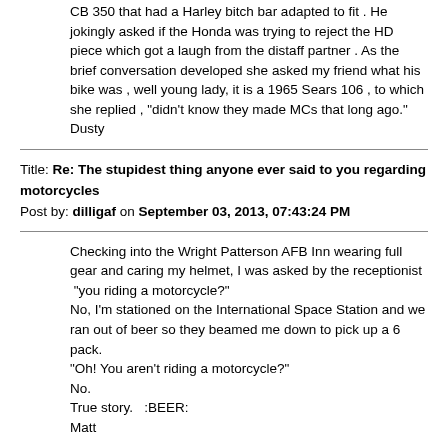CB 350 that had a Harley bitch bar adapted to fit . He jokingly asked if the Honda was trying to reject the HD piece which got a laugh from the distaff partner . As the brief conversation developed she asked my friend what his bike was , well young lady, it is a 1965 Sears 106 , to which she replied , "didn't know they made MCs that long ago."
Dusty
Title: Re: The stupidest thing anyone ever said to you regarding motorcycles
Post by: dilligaf on September 03, 2013, 07:43:24 PM
Checking into the Wright Patterson AFB Inn wearing full gear and caring my helmet, I was asked by the receptionist  "you riding a motorcycle?"
No, I'm stationed on the International Space Station and we ran out of beer so they beamed me down to pick up a 6 pack.
"Oh! You aren't riding a motorcycle?"
No.
True story.  :BEER:
Matt
Title: Re: The stupidest thing anyone ever said to you regarding motorcycles
Post by: Aaron D. on September 03, 2013, 07:52:50 PM
30 years ago (!) my wife on her LeMans CX100 and I on my Laverda triple (with 1000 displayed on the side cover)-